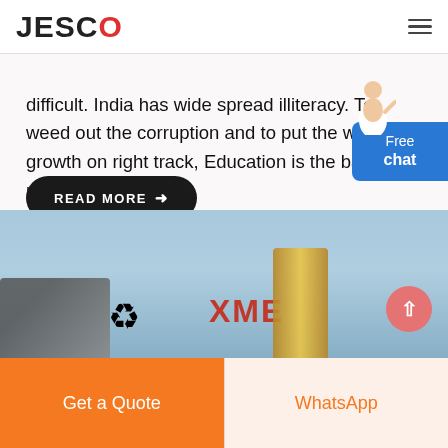JESCO
difficult. India has wide spread illiteracy. To weed out the corruption and to put the wheel of growth on right track, Education is the basic requirement.
READ MORE →
Free chat
[Figure (photo): Outdoor industrial/machinery scene showing green recycling symbol, XME text in red, gold-colored pipe structures, and blue sky background]
Get a Quote
WhatsApp